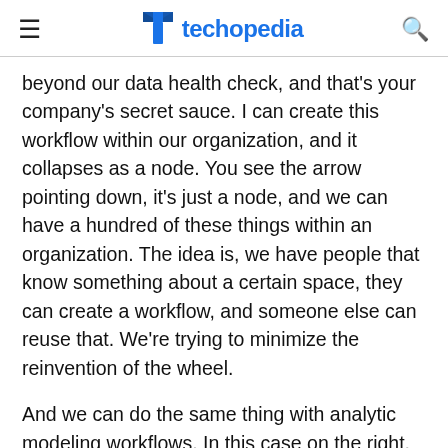techopedia
beyond our data health check, and that's your company's secret sauce. I can create this workflow within our organization, and it collapses as a node. You see the arrow pointing down, it's just a node, and we can have a hundred of these things within an organization. The idea is, we have people that know something about a certain space, they can create a workflow, and someone else can reuse that. We're trying to minimize the reinvention of the wheel.
And we can do the same thing with analytic modeling workflows. In this case on the right, this workflow, maybe there's 15 different algorithms, and I want to pick the b... one for the task. And I don't have to understand as a d...